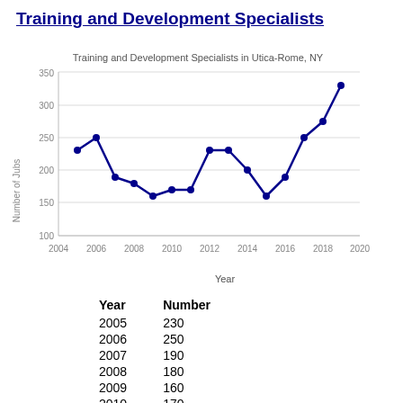Training and Development Specialists
[Figure (line-chart): Training and Development Specialists in Utica-Rome, NY]
| Year | Number |
| --- | --- |
| 2005 | 230 |
| 2006 | 250 |
| 2007 | 190 |
| 2008 | 180 |
| 2009 | 160 |
| 2010 | 170 |
| 2011 | 170 |